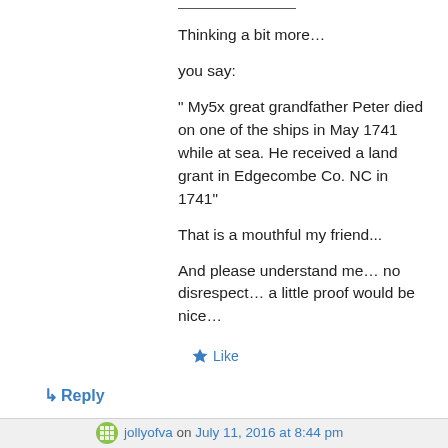Thinking a bit more…
you say:
" My5x great grandfather Peter died on one of the ships in May 1741 while at sea. He received a land grant in Edgecombe Co. NC in 1741"
That is a mouthful my friend...
And please understand me… no disrespect… a little proof would be nice…
Like
↳ Reply
jollyofva on July 11, 2016 at 8:44 pm